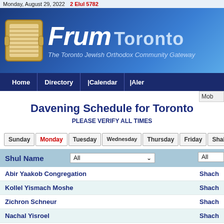Monday, August 29, 2022   2 Elul 5782
[Figure (logo): FrumToronto logo banner with Torah scroll icon, title 'Frum Toronto' and subtitle 'The Toronto Jewish Orthodox Community Gateway' on blue gradient background]
Home   Directory   Calendar   Aler
Davening Schedule for Toronto
PLEASE VERIFY ALL TIMES
Sunday  Monday  Tuesday  Wednesday  Thursday  Friday  Shabbos
| Shul Name | All | All |
| --- | --- | --- |
| Abir Yaakob Congregation | Shach |
| Kollel Yismach Moshe | Shach |
| Zichron Schneur | Shach |
| Nachal Yisroel | Shach |
| Beth Avraham Yoseph of Toronto | Shach |
| Congregation Bnai Torah | Shach |
| Chevra Shass | Shach |